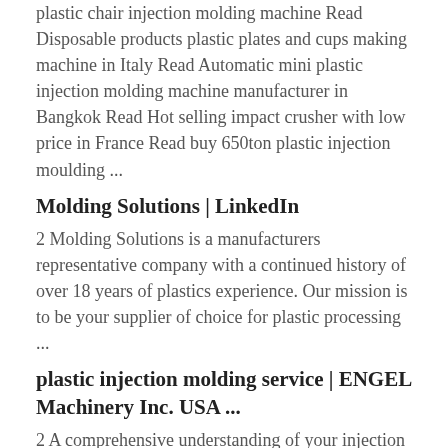plastic chair injection molding machine Read Disposable products plastic plates and cups making machine in Italy Read Automatic mini plastic injection molding machine manufacturer in Bangkok Read Hot selling impact crusher with low price in France Read buy 650ton plastic injection moulding ...
Molding Solutions | LinkedIn
2 Molding Solutions is a manufacturers representative company with a continued history of over 18 years of plastics experience. Our mission is to be your supplier of choice for plastic processing ...
plastic injection molding service | ENGEL Machinery Inc. USA ...
2 A comprehensive understanding of your injection molding machine, your robot, and the interaction of individual process steps is the foundation for success in ...